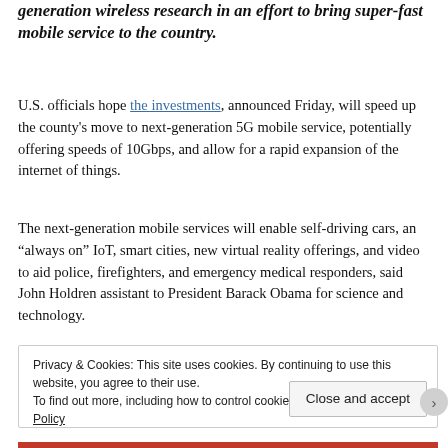generation wireless research in an effort to bring super-fast mobile service to the country.
U.S. officials hope the investments, announced Friday, will speed up the county's move to next-generation 5G mobile service, potentially offering speeds of 10Gbps, and allow for a rapid expansion of the internet of things.
The next-generation mobile services will enable self-driving cars, an “always on” IoT, smart cities, new virtual reality offerings, and video to aid police, firefighters, and emergency medical responders, said John Holdren assistant to President Barack Obama for science and technology.
Privacy & Cookies: This site uses cookies. By continuing to use this website, you agree to their use. To find out more, including how to control cookies, see here: Cookie Policy